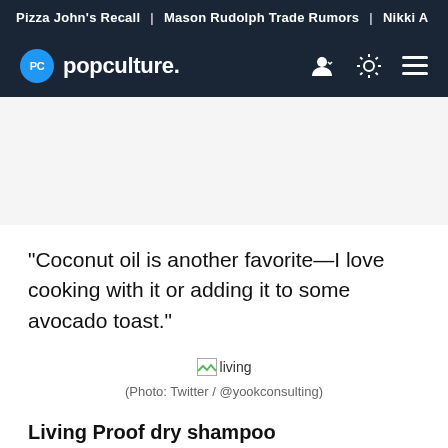Pizza John's Recall | Mason Rudolph Trade Rumors | Nikki A
[Figure (logo): Popculture.com logo and navigation bar with user icon, brightness toggle, and hamburger menu]
"Coconut oil is another favorite—I love cooking with it or adding it to some avocado toast."
[Figure (photo): Broken image placeholder labeled 'living']
(Photo: Twitter / @yookconsulting)
Living Proof dry shampoo